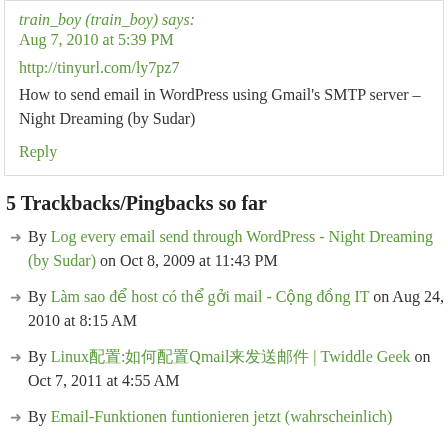train_boy (train_boy) says:
Aug 7, 2010 at 5:39 PM
http://tinyurl.com/ly7pz7
How to send email in WordPress using Gmail's SMTP server – Night Dreaming (by Sudar)
Reply
5 Trackbacks/Pingbacks so far
By Log every email send through WordPress - Night Dreaming (by Sudar) on Oct 8, 2009 at 11:43 PM
By Làm sao để host có thể gởi mail - Cộng đồng IT on Aug 24, 2010 at 8:15 AM
By Linux配置:如何配置Qmail来发送邮件 | Twiddle Geek on Oct 7, 2011 at 4:55 AM
By Email-Funktionen funtionieren jetzt (wahrscheinlich)